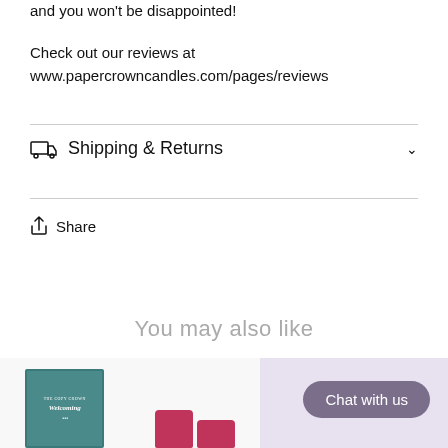and you won't be disappointed!
Check out our reviews at www.papercrowncandles.com/pages/reviews
Shipping & Returns
Share
You may also like
[Figure (photo): Product images section showing a candle box and pink wax melts, with a lavender background panel on the right]
Chat with us